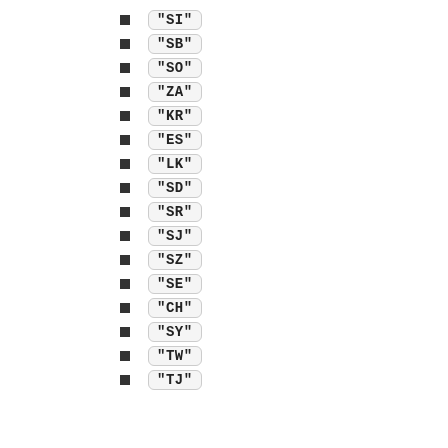"SI"
"SB"
"SO"
"ZA"
"KR"
"ES"
"LK"
"SD"
"SR"
"SJ"
"SZ"
"SE"
"CH"
"SY"
"TW"
"TJ"